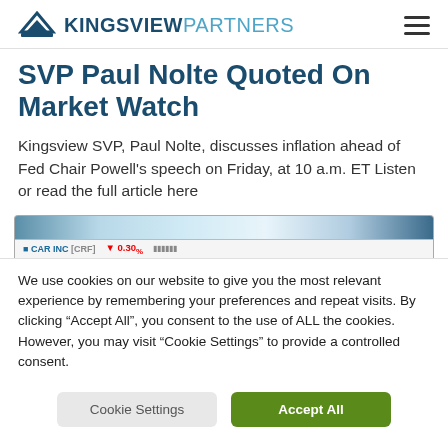KINGSVIEW PARTNERS
SVP Paul Nolte Quoted On Market Watch
Kingsview SVP, Paul Nolte, discusses inflation ahead of Fed Chair Powell's speech on Friday, at 10 a.m. ET Listen or read the full article here
[Figure (screenshot): Screenshot of a MarketWatch article page showing ticker/stock bar at the bottom]
We use cookies on our website to give you the most relevant experience by remembering your preferences and repeat visits. By clicking “Accept All”, you consent to the use of ALL the cookies. However, you may visit “Cookie Settings” to provide a controlled consent.